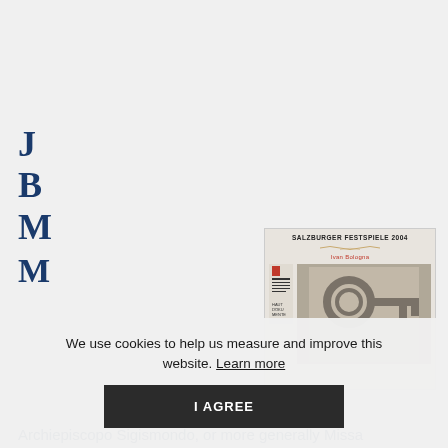[Figure (illustration): Book cover for 'Salzburger Festspiele 2004' showing an old key photograph. Cover has text header, a red author name, and a small logo on the left side with the key image taking up main area.]
J
B
M
We use cookies to help us measure and improve this website. Learn more
I AGREE
M
Archiepiscopo Sigismondo, or more generally Missa